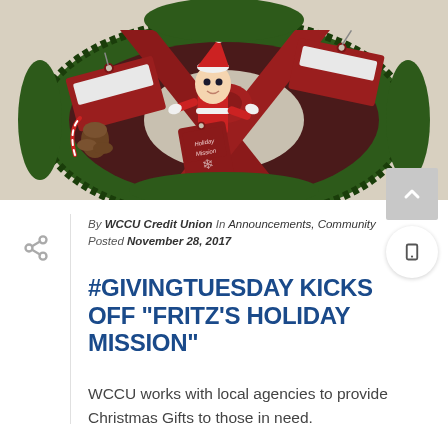[Figure (photo): Christmas wreath with red ribbon and an Elf on the Shelf doll holding a 'Holiday Mission' tag. Red gift tags are visible on the wreath.]
By WCCU Credit Union In Announcements, Community
Posted November 28, 2017
#GIVINGTUESDAY KICKS OFF "FRITZ'S HOLIDAY MISSION"
WCCU works with local agencies to provide Christmas Gifts to those in need.